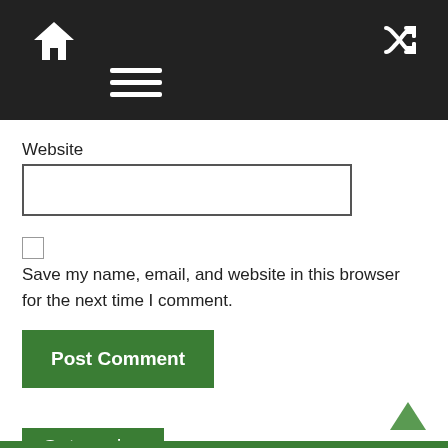Navigation bar with home icon, hamburger menu, and shuffle icon
Website
Save my name, email, and website in this browser for the next time I comment.
Post Comment
Categories
Select Category